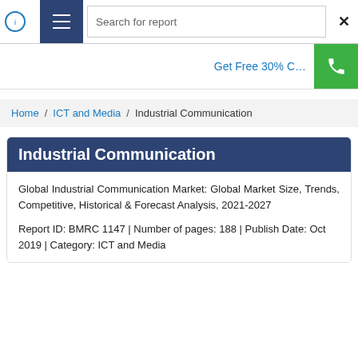Search for report
Get Free 30% C...
Home / ICT and Media / Industrial Communication
Industrial Communication
Global Industrial Communication Market: Global Market Size, Trends, Competitive, Historical & Forecast Analysis, 2021-2027
Report ID: BMRC 1147 | Number of pages: 188 | Publish Date: Oct 2019 | Category: ICT and Media